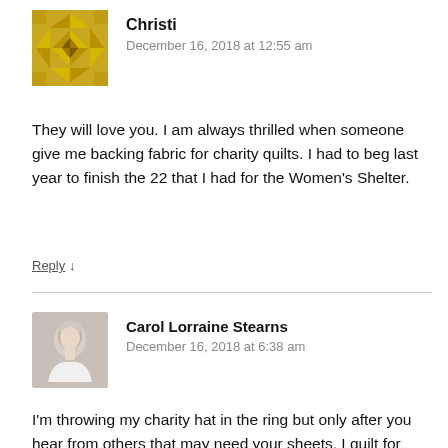[Figure (illustration): Geometric quilt-pattern avatar icon in gold/yellow tones]
Christi
December 16, 2018 at 12:55 am
They will love you. I am always thrilled when someone give me backing fabric for charity quilts. I had to beg last year to finish the 22 that I had for the Women's Shelter.
Reply ↓
[Figure (photo): Profile photo of Carol Lorraine Stearns, a woman with short light hair wearing a white top]
Carol Lorraine Stearns
December 16, 2018 at 6:38 am
I'm throwing my charity hat in the ring but only after you hear from others that may need your sheets. I quilt for Lutheran